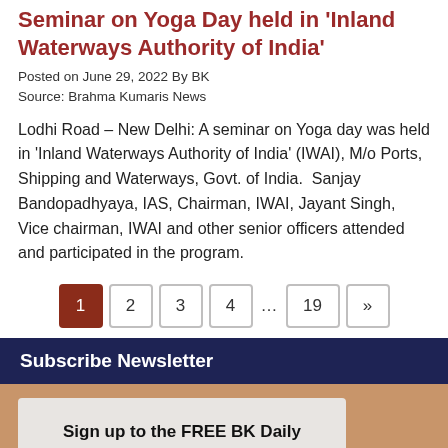Seminar on Yoga Day held in 'Inland Waterways Authority of India'
Posted on June 29, 2022 By BK
Source: Brahma Kumaris News
Lodhi Road – New Delhi: A seminar on Yoga day was held in 'Inland Waterways Authority of India' (IWAI), M/o Ports, Shipping and Waterways, Govt. of India. Sanjay Bandopadhyaya, IAS, Chairman, IWAI, Jayant Singh, Vice chairman, IWAI and other senior officers attended and participated in the program.
Pagination: 1 2 3 4 ... 19 »
Subscribe Newsletter
Sign up to the FREE BK Daily News e-mail newsletter